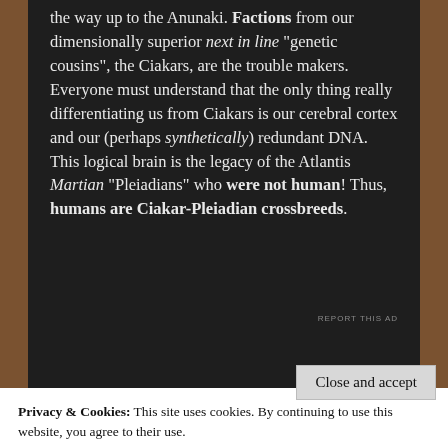the way up to the Anunaki. Factions from our dimensionally superior next in line "genetic cousins", the Ciakars, are the trouble makers. Everyone must understand that the only thing really differentiating us from Ciakars is our cerebral cortex and our (perhaps synthetically) redundant DNA. This logical brain is the legacy of the Atlantis Martian "Pleiadians" who were not human! Thus, humans are Ciakar-Pleiadian crossbreeds.
REPORT THIS AD
Privacy & Cookies: This site uses cookies. By continuing to use this website, you agree to their use.
To find out more, including how to control cookies, see here:
Cookie Policy
Close and accept
Cia